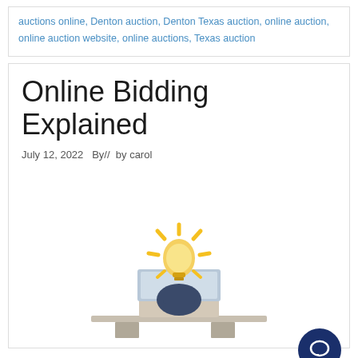auctions online, Denton auction, Denton Texas auction, online auction, online auction website, online auctions, Texas auction
Online Bidding Explained
July 12, 2022  By//  by carol
[Figure (illustration): Person sitting at a desk with a laptop, with a glowing lightbulb replacing their head, radiating yellow rays — symbolizing online bidding ideas.]
Each week,